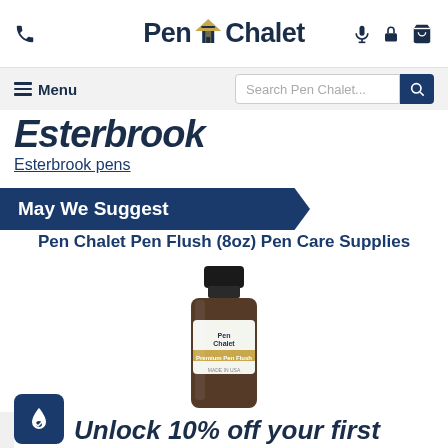Pen Chalet (logo with phone, microphone, lock, cart icons)
Menu | Search Pen Chalet...
Esterbrook (brand name large italic)
Esterbrook pens
May We Suggest
Pen Chalet Pen Flush (8oz) Pen Care Supplies
[Figure (photo): Dark amber glass bottle of Pen Chalet Pen Flush 8oz with white label and gold band, black cap]
Unlock 10% off your first